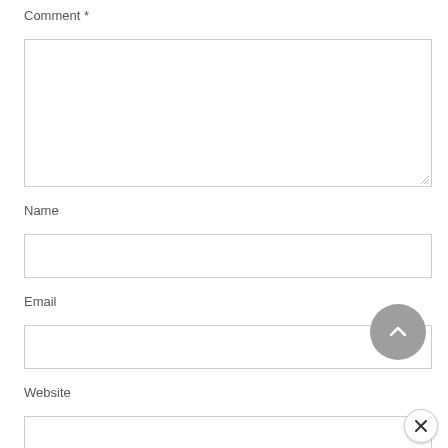Comment *
[Figure (screenshot): Large textarea input box for comment field]
Name
[Figure (screenshot): Single-line text input box for Name field]
Email
[Figure (screenshot): Single-line text input box for Email field]
Website
[Figure (screenshot): Single-line text input box for Website field]
[Figure (other): Gray circular scroll-to-top button with upward chevron arrow]
[Figure (other): White circular close button with X symbol]